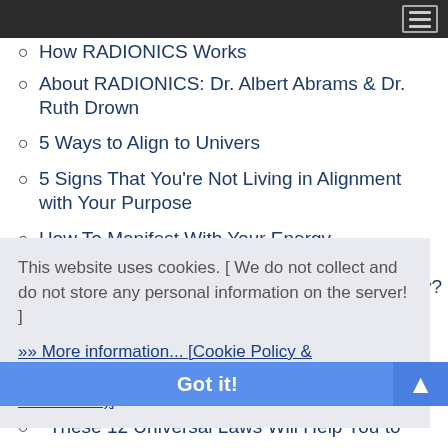How RADIONICS Works
About RADIONICS: Dr. Albert Abrams & Dr. Ruth Drown
5 Ways to Align to Univers
5 Signs That You're Not Living in Alignment with Your Purpose
How To Manifest With Your Energy
8 Keys & 9 Ways To Attract Good Energy Today
How To Manifest Miracles In 5 Steps
This website uses cookies. [ We do not collect and do not store any personal information on the server! ]
»» More information... [Cookie Policy & GDP(R) statement (Data Protection Declaration)]
These 12 Universal Laws Will Help You to